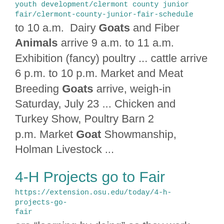youth development/clermont county junior fair/clermont-county-junior-fair-schedule
to 10 a.m.  Dairy Goats and Fiber Animals arrive 9 a.m. to 11 a.m.  Exhibition (fancy) poultry ... cattle arrive 6 p.m. to 10 p.m. Market and Meat Breeding Goats arrive, weigh-in Saturday, July 23 ... Chicken and Turkey Show, Poultry Barn 2 p.m. Market Goat Showmanship, Holman Livestock ...
4-H Projects go to Fair
https://extension.osu.edu/today/4-h-projects-go-fair
are “learning by doing” as they work with animals and a wide variety of other